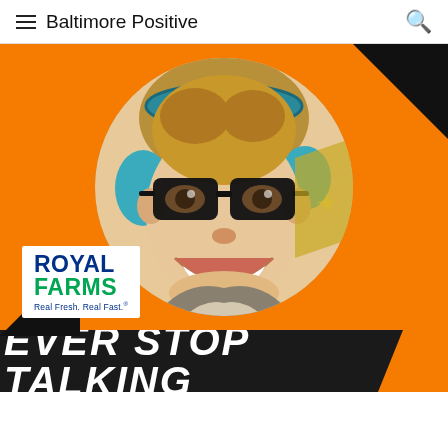Baltimore Positive
[Figure (illustration): Orange background with a circular portrait of a smiling man wearing black glasses and headphones, with black diagonal corner accents. Royal Farms logo in bottom-left of image. Below: a dark banner with bold white italic text 'EVER STOP TALKING' with orange accent on right.]
ROYAL FARMS Real Fresh. Real Fast.®
EVER STOP TALKING